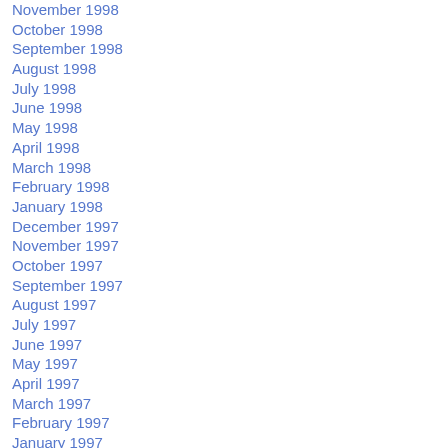November 1998
October 1998
September 1998
August 1998
July 1998
June 1998
May 1998
April 1998
March 1998
February 1998
January 1998
December 1997
November 1997
October 1997
September 1997
August 1997
July 1997
June 1997
May 1997
April 1997
March 1997
February 1997
January 1997
December 1996
November 1996
October 1996
September 1996
August 1996
July 1996
June 1996
May 1996